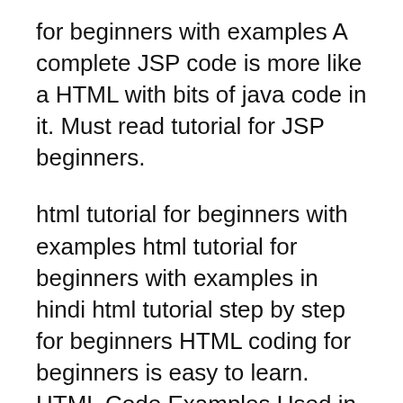for beginners with examples A complete JSP code is more like a HTML with bits of java code in it. Must read tutorial for JSP beginners.
html tutorial for beginners with examples html tutorial for beginners with examples in hindi html tutorial step by step for beginners HTML coding for beginners is easy to learn. HTML Code Examples Used in This Article. code. beanz magazine.
YouвЂ™ve reached the end of our absolute beginners HTML tutorial. simply check your HTML code against the examples below: Index.html troubleshooting code html tutorial for beginners with examples html tutorial for beginners with examples in hindi html tutorial